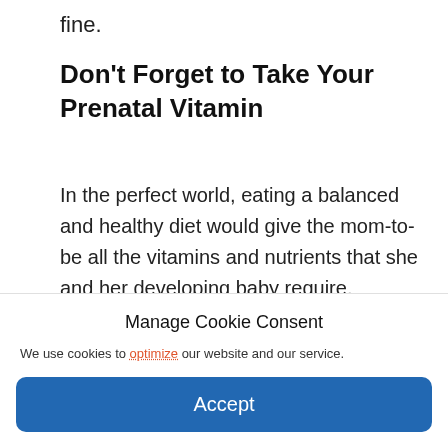fine.
Don't Forget to Take Your Prenatal Vitamin
In the perfect world, eating a balanced and healthy diet would give the mom-to-be all the vitamins and nutrients that she and her developing baby require. Unfortunately, this isn't realistic. Pregnant women need to take a prenatal vitamin-mineral
Manage Cookie Consent
We use cookies to optimize our website and our service.
Accept